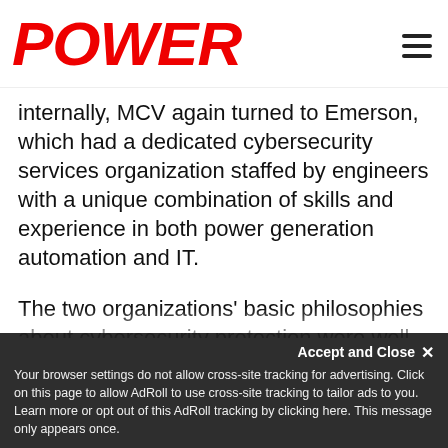POWER
internally, MCV again turned to Emerson, which had a dedicated cybersecurity services organization staffed by engineers with a unique combination of skills and experience in both power generation automation and IT.
The two organizations' basic philosophies about cybersecurity protection were well-aligned. Both agreed that the best protection for the plant required moving beyond a “check the box” mentality that aimed for nothing more than passing a compliance audit. MCV needed to commit to developing a security program focused on both compliance and security best practices. This was the best approach for ensuring truly secure systems, keeping the
Accept and Close ×
Your browser settings do not allow cross-site tracking for advertising. Click on this page to allow AdRoll to use cross-site tracking to tailor ads to you. Learn more or opt out of this AdRoll tracking by clicking here. This message only appears once.